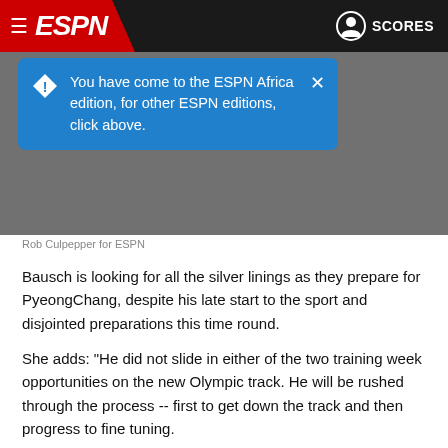ESPN — SCORES
You have come to the ESPN Africa edition, for other ESPN editions, click above.
[Figure (photo): Grey placeholder image area for ESPN article photo, credited to Rob Culpepper for ESPN]
Rob Culpepper for ESPN
Bausch is looking for all the silver linings as they prepare for PyeongChang, despite his late start to the sport and disjointed preparations this time round.
She adds: "He did not slide in either of the two training week opportunities on the new Olympic track. He will be rushed through the process -- first to get down the track and then progress to fine tuning.